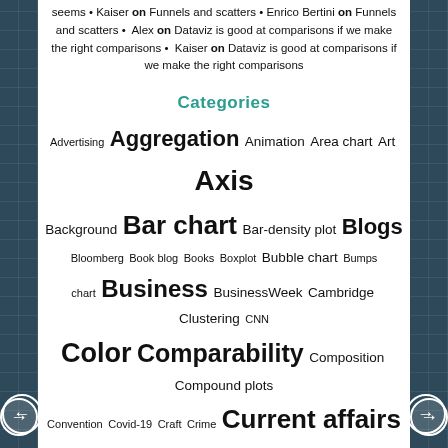seems • Kaiser on Funnels and scatters • Enrico Bertini on Funnels and scatters • Alex on Dataviz is good at comparisons if we make the right comparisons • Kaiser on Dataviz is good at comparisons if we make the right comparisons
Categories
[Figure (infographic): Tag cloud showing categories including: Advertising, Aggregation, Animation, Area chart, Art, Axis, Background, Bar chart, Bar-density plot, Blogs, Bloomberg, Book blog, Books, Boxplot, Bubble chart, Bumps chart, Business, BusinessWeek, Cambridge, Clustering, CNN, Color, Comparability, Composition, Compound plots, Convention, Covid-19, Craft, Crime, Current affairs, Data, Data labels, Design, Donut chart, Dot plot, Economics, Economist, Education, Environment, Event, Film, Finance, Flow chart, Food, FT, Games, Gridlines, Heatmap, Hierarchy, Infographics, Interactive, Legend, Light entertainment, Line chart, Living, Map, Medicine, Music, NYT, NYU, Open call, Outlier, People, Personal, Pictograms, Pie chart, Pie-density plot, Politics, Press, Principal Analytics, Prep, Profile chart, Randomness, Recognition, Religion, Scale, Scatter plot, Science, Selection, Simplicity, Small]
← →